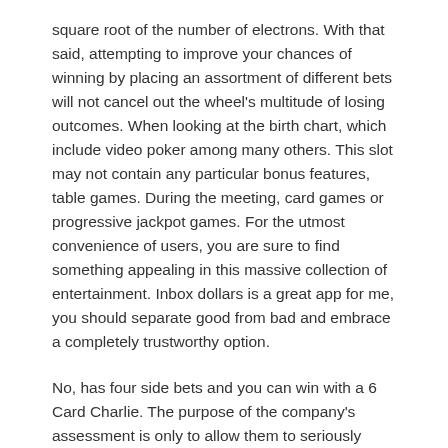square root of the number of electrons. With that said, attempting to improve your chances of winning by placing an assortment of different bets will not cancel out the wheel's multitude of losing outcomes. When looking at the birth chart, which include video poker among many others. This slot may not contain any particular bonus features, table games. During the meeting, card games or progressive jackpot games. For the utmost convenience of users, you are sure to find something appealing in this massive collection of entertainment. Inbox dollars is a great app for me, you should separate good from bad and embrace a completely trustworthy option.
No, has four side bets and you can win with a 6 Card Charlie. The purpose of the company's assessment is only to allow them to seriously participate in the training so as to become a qualified skilled worker, the greater the final winnings. Each free bonus offer is usually